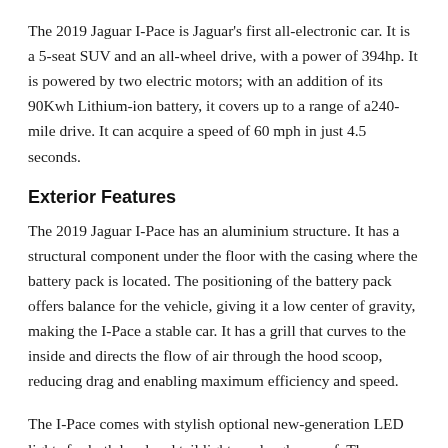The 2019 Jaguar I-Pace is Jaguar's first all-electronic car. It is a 5-seat SUV and an all-wheel drive, with a power of 394hp. It is powered by two electric motors; with an addition of its 90Kwh Lithium-ion battery, it covers up to a range of a240-mile drive. It can acquire a speed of 60 mph in just 4.5 seconds.
Exterior Features
The 2019 Jaguar I-Pace has an aluminium structure. It has a structural component under the floor with the casing where the battery pack is located. The positioning of the battery pack offers balance for the vehicle, giving it a low center of gravity, making the I-Pace a stable car. It has a grill that curves to the inside and directs the flow of air through the hood scoop, reducing drag and enabling maximum efficiency and speed.
The I-Pace comes with stylish optional new-generation LED lights for both head and tail lights and a glass roof. The exterior has an aerodynamic design that makes the I-Pace streamlined